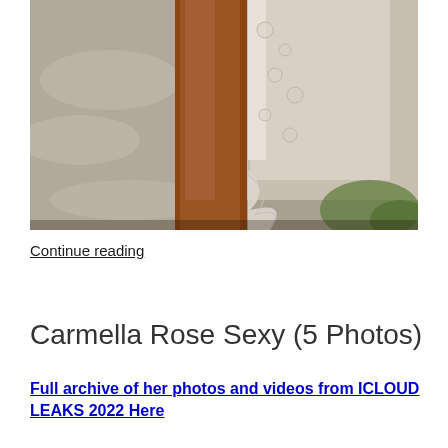[Figure (photo): Close-up photo of a person's leg and lower body wearing a white lacy garment, shot against a blurred natural background with warm tones.]
Continue reading
Carmella Rose Sexy (5 Photos)
Full archive of her photos and videos from ICLOUD LEAKS 2022 Here